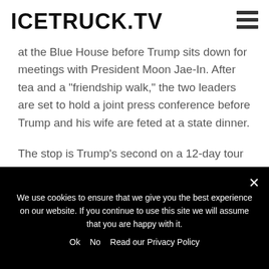ICETRUCK.TV
at the Blue House before Trump sits down for meetings with President Moon Jae-In. After tea and a "friendship walk," the two leaders are set to hold a joint press conference before Trump and his wife are feted at a state dinner.
The stop is Trump's second on a 12-day tour of Asia.
—
11: 45 a.m.
We use cookies to ensure that we give you the best experience on our website. If you continue to use this site we will assume that you are happy with it.
Ok   No   Read our Privacy Policy